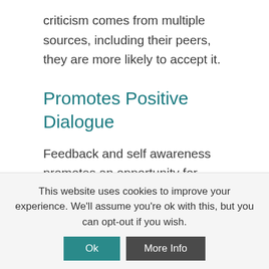criticism comes from multiple sources, including their peers, they are more likely to accept it.
Promotes Positive Dialogue
Feedback and self awareness promotes an opportunity for positive dialogue between employees, managers & teams. This could involve discussing goals and an improvement plan based on the 360 degree feedback results.
Issues that may have previously been difficult to
This website uses cookies to improve your experience. We'll assume you're ok with this, but you can opt-out if you wish.